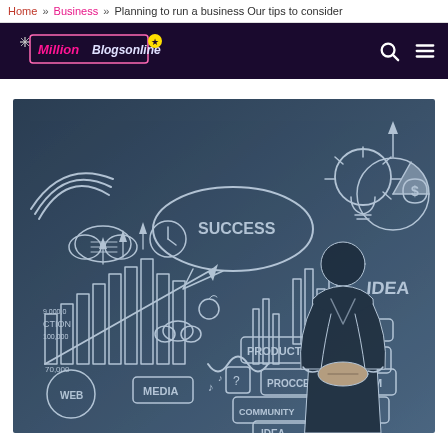Home » Business » Planning to run a business Our tips to consider
[Figure (logo): Million Blogsonline logo with pink/yellow stylized text on dark navy background, with search and hamburger menu icons]
[Figure (photo): Business concept illustration: man in suit standing with hands clasped behind back, facing a dark blue chalkboard covered in hand-drawn business diagrams including SUCCESS text, charts, graphs, lightbulb, pie chart, arrows, and boxes labeled PRODUCT, RESULT, PROCESS, TEAM, COMMUNITY, GROUP, MEDIA, WEB, IDEA, WORKSTATION]